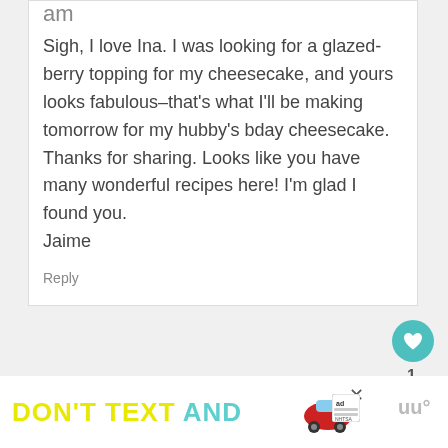am
Sigh, I love Ina. I was looking for a glazed-berry topping for my cheesecake, and yours looks fabulous–that's what I'll be making tomorrow for my hubby's bday cheesecake. Thanks for sharing. Looks like you have many wonderful recipes here! I'm glad I found you.
Jaime
Reply
[Figure (infographic): Circular like/heart button (teal), count of 1, and share button]
[Figure (infographic): Ad banner: DON'T TEXT AND [car image] ad logo, close button, NHTSA branding, and brand mark]